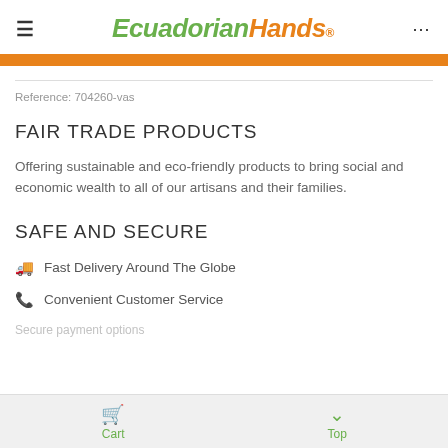Ecuadorian Hands
Reference: 704260-vas
FAIR TRADE PRODUCTS
Offering sustainable and eco-friendly products to bring social and economic wealth to all of our artisans and their families.
SAFE AND SECURE
Fast Delivery Around The Globe
Convenient Customer Service
Cart  Top